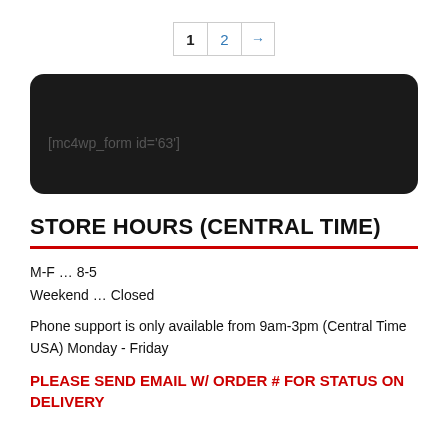[Figure (other): Pagination control showing page 1 (current), page 2 (link), and next arrow (→)]
[Figure (other): Dark/black rounded rectangle box containing shortcode text [mc4wp_form id='63']]
STORE HOURS (CENTRAL TIME)
M-F ... 8-5
Weekend ... Closed
Phone support is only available from 9am-3pm (Central Time USA) Monday - Friday
PLEASE SEND EMAIL W/ ORDER # FOR STATUS ON DELIVERY